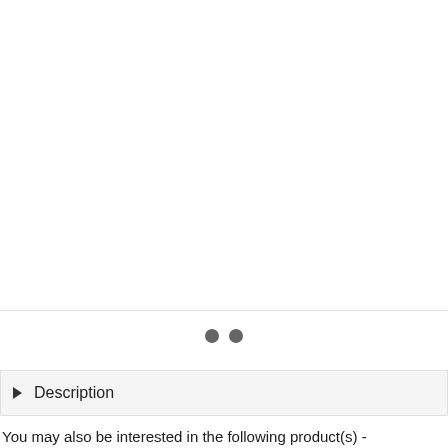[Figure (other): White image/product display area with two pagination dots below a horizontal divider line]
Description
You may also be interested in the following product(s) -